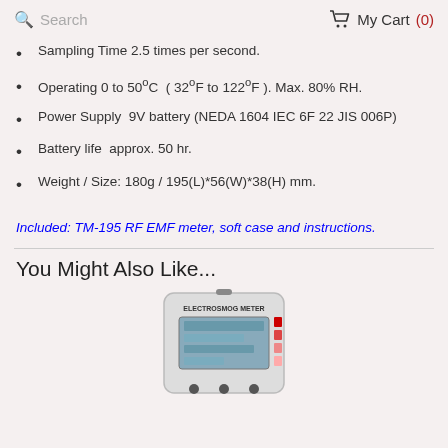Search | My Cart (0)
Sampling Time 2.5 times per second.
Operating 0 to 50ºC  ( 32ºF to 122ºF ). Max. 80% RH.
Power Supply  9V battery (NEDA 1604 IEC 6F 22 JIS 006P)
Battery life  approx. 50 hr.
Weight / Size: 180g / 195(L)*56(W)*38(H) mm.
Included: TM-195 RF EMF meter, soft case and instructions.
You Might Also Like...
[Figure (photo): Electrosmog Meter device photo]